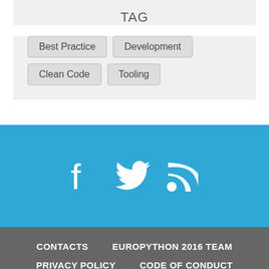TAG
Best Practice
Development
Clean Code
Tooling
[Figure (infographic): Social media icons: Facebook, Twitter, RSS feed on blue background]
CONTACTS  EUROPYTHON 2016 TEAM  PRIVACY POLICY  CODE OF CONDUCT